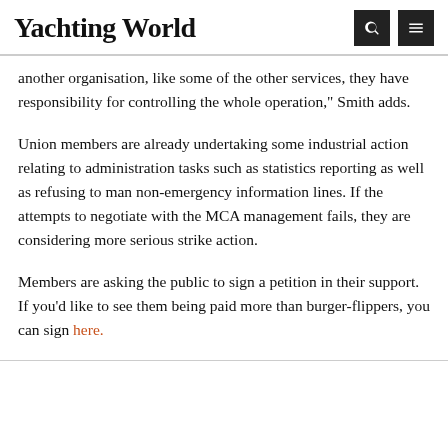Yachting World
another organisation, like some of the other services, they have responsibility for controlling the whole operation," Smith adds.
Union members are already undertaking some industrial action relating to administration tasks such as statistics reporting as well as refusing to man non-emergency information lines. If the attempts to negotiate with the MCA management fails, they are considering more serious strike action.
Members are asking the public to sign a petition in their support. If you'd like to see them being paid more than burger-flippers, you can sign here.